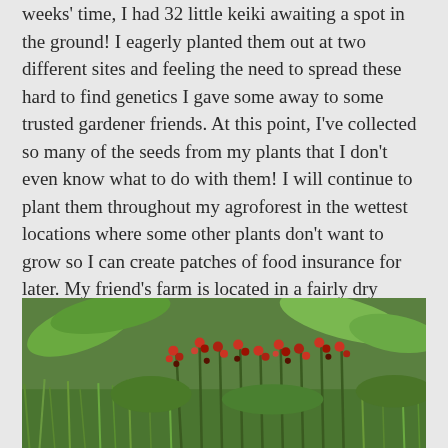weeks' time, I had 32 little keiki awaiting a spot in the ground! I eagerly planted them out at two different sites and feeling the need to spread these hard to find genetics I gave some away to some trusted gardener friends. At this point, I've collected so many of the seeds from my plants that I don't even know what to do with them! I will continue to plant them throughout my agroforest in the wettest locations where some other plants don't want to grow so I can create patches of food insurance for later. My friend's farm is located in a fairly dry environment; once I took those seeds and planted them in a wet location, they became extremely prolific!
[Figure (photo): Outdoor garden scene with lush green vegetation including banana-like large leaves, tall grasses, and plants with red flowers or seed pods in a tropical or subtropical setting.]